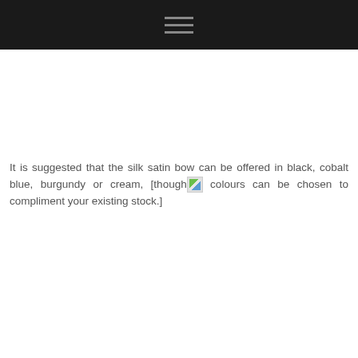It is suggested that the silk satin bow can be offered in black, cobalt blue, burgundy or cream, [though colours can be chosen to compliment your existing stock.]